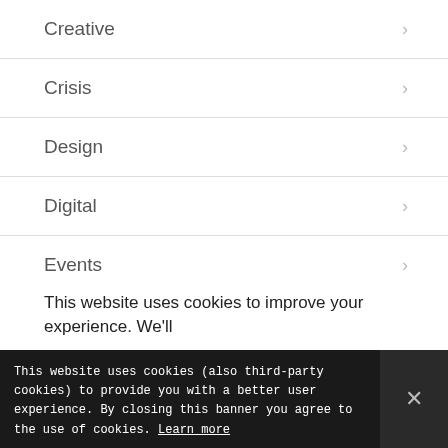Creative
Crisis
Design
Digital
Events
Exhibitions
Health
This website uses cookies to improve your experience. We'll
This website uses cookies (also third-party cookies) to provide you with a better user experience. By closing this banner you agree to the use of cookies. Learn more